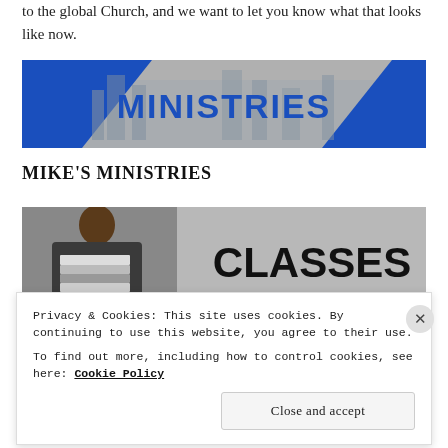to the global Church, and we want to let you know what that looks like now.
[Figure (illustration): Banner image with city skyline background and blue diagonal graphic with bold blue text reading MINISTRIES]
MIKE'S MINISTRIES
[Figure (illustration): Banner image showing a person holding a stack of books on left side with bold black text CLASSES on grey background]
Privacy & Cookies: This site uses cookies. By continuing to use this website, you agree to their use.
To find out more, including how to control cookies, see here: Cookie Policy
Close and accept